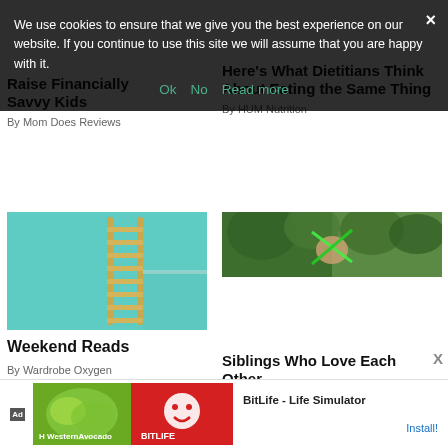We use cookies to ensure that we give you the best experience on our website. If you continue to use this site we will assume that you are happy with it.
Ok   No   Read more
Raise Financially Savvy Kids
By Mom Does Reviews
Here's What Dietitians Think About Eating the Same Thing
By HUM Nutrition
[Figure (photo): Teal/turquoise background with a yellow wooden ladder leaning against a wall]
Weekend Reads
By Wardrobe Oxygen
[Figure (photo): Outdoor photo of a child with green light saber toys in a forest setting]
Siblings Who Love Each Other
[Figure (screenshot): Advertisement banner: BitLife - Life Simulator with Ad label, green vegetable image and red BitLife logo, Install button]